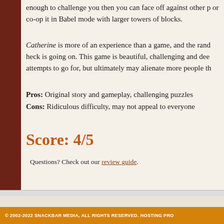enough to challenge you then you can face off against other p or co-op it in Babel mode with larger towers of blocks.
Catherine is more of an experience than a game, and the rand heck is going on. This game is beautiful, challenging and dee attempts to go for, but ultimately may alienate more people th
Pros: Original story and gameplay, challenging puzzles
Cons: Ridiculous difficulty, may not appeal to everyone
Score: 4/5
Questions? Check out our review guide.
© 2002-2022 SNACKBAR MEDIA, ALL RIGHTS RESERVED. HOSTING PRO